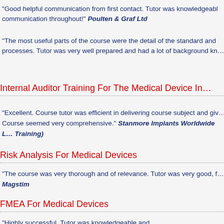"Good helpful communication from first contact. Tutor was knowledgeable communication throughout!" Poulten & Graf Ltd
"The most useful parts of the course were the detail of the standard and processes. Tutor was very well prepared and had a lot of background kn…
Internal Auditor Training For The Medical Device In…
"Excellent. Course tutor was efficient in delivering course subject and giv… Course seemed very comprehensive." Stanmore Implants Worldwide … Training)
Risk Analysis For Medical Devices
"The course was very thorough and of relevance. Tutor was very good, f… Magstim
FMEA For Medical Devices
"Highly successful. Tutor was knowledgeable and…